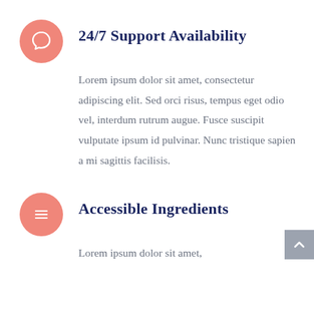[Figure (illustration): Salmon/coral colored circle icon with a speech bubble / chat icon in white]
24/7 Support Availability
Lorem ipsum dolor sit amet, consectetur adipiscing elit. Sed orci risus, tempus eget odio vel, interdum rutrum augue. Fusce suscipit vulputate ipsum id pulvinar. Nunc tristique sapien a mi sagittis facilisis.
[Figure (illustration): Salmon/coral colored circle icon with a list/menu lines icon in white]
Accessible Ingredients
Lorem ipsum dolor sit amet,